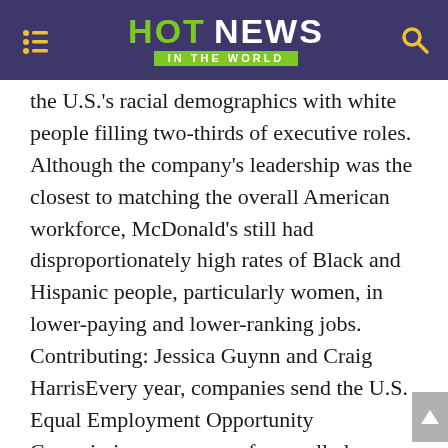HOT NEWS IN THE WORLD
the U.S.'s racial demographics with white people filling two-thirds of executive roles. Although the company's leadership was the closest to matching the overall American workforce, McDonald's still had disproportionately high rates of Black and Hispanic people, particularly women, in lower-paying and lower-ranking jobs. Contributing: Jessica Guynn and Craig HarrisEvery year, companies send the U.S. Equal Employment Opportunity Commission a one-page form called an EEO-1, counting workers by race, ethnicity and gender in 10 occupation categories. The U.S. Census Bureau also produces a summary of the American workforce that uses the same industry, occupation, race and ethnicity definitions as the EEO-1. USA TODAY compared how well